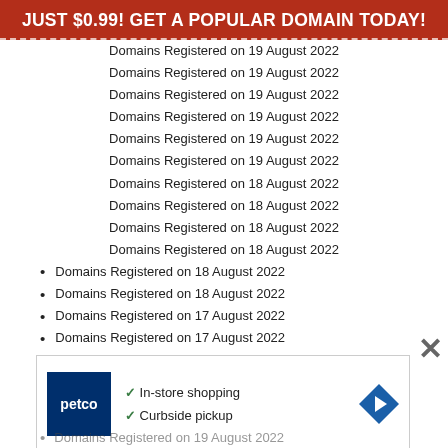JUST $0.99! GET A POPULAR DOMAIN TODAY!
Domains Registered on 19 August 2022
Domains Registered on 19 August 2022
Domains Registered on 19 August 2022
Domains Registered on 19 August 2022
Domains Registered on 19 August 2022
Domains Registered on 19 August 2022
Domains Registered on 18 August 2022
Domains Registered on 18 August 2022
Domains Registered on 18 August 2022
Domains Registered on 18 August 2022
Domains Registered on 18 August 2022
Domains Registered on 18 August 2022
Domains Registered on 17 August 2022
Domains Registered on 17 August 2022
Domains Registered on 17 August 2022
Domains Registered on 17 August 2022
Domains Registered on 17 August 2022
[Figure (screenshot): Petco advertisement showing In-store shopping and Curbside pickup with navigation arrow icon]
Domains Registered on 19 August 2022